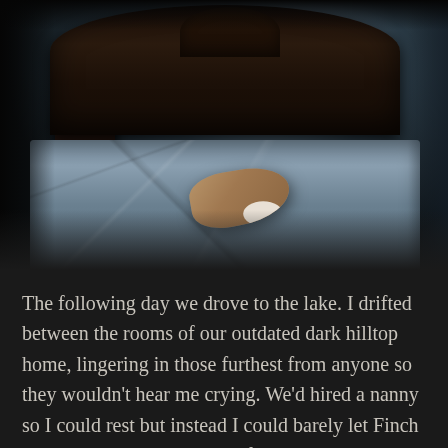[Figure (photo): A dim, atmospheric photograph of a dark wooden antique bed with an ornate headboard. A small child (baby/toddler) lies on the rumpled blue-grey bedding. The room is very dark with low moody lighting. A nightstand is visible to the left.]
The following day we drove to the lake. I drifted between the rooms of our outdated dark hilltop home, lingering in those furthest from anyone so they wouldn't hear me crying. We'd hired a nanny so I could rest but instead I could barely let Finch go. I stood in the shadows of our bedroom, silently